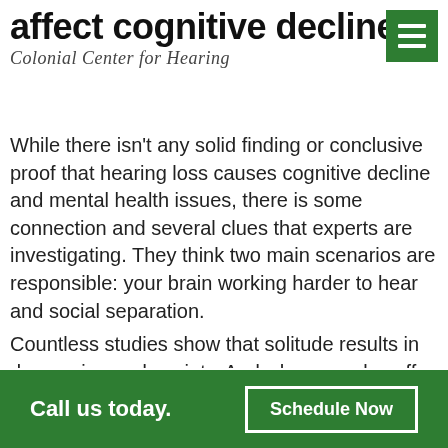Why does hearing loss affect cognitive decline?
Colonial Center for Hearing
While there isn't any solid finding or conclusive proof that hearing loss causes cognitive decline and mental health issues, there is some connection and several clues that experts are investigating. They think two main scenarios are responsible: your brain working harder to hear and social separation.
Countless studies show that solitude results in depression and anxiety. And when people suffer from hearing loss, they're less likely to interact socially with other people. Many individuals find it difficult to go out to the movies or dinner...
Call us today.   Schedule Now